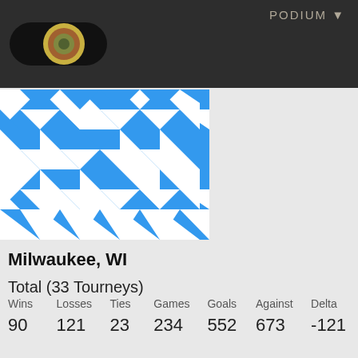PODIUM ▼
[Figure (illustration): Toggle switch with concentric circle target icon on dark header bar]
[Figure (illustration): Blue and white geometric diamond/triangle pattern image]
Milwaukee, WI
Total (33 Tourneys)
| Wins | Losses | Ties | Games | Goals | Against | Delta |
| --- | --- | --- | --- | --- | --- | --- |
| 90 | 121 | 23 | 234 | 552 | 673 | -121 |